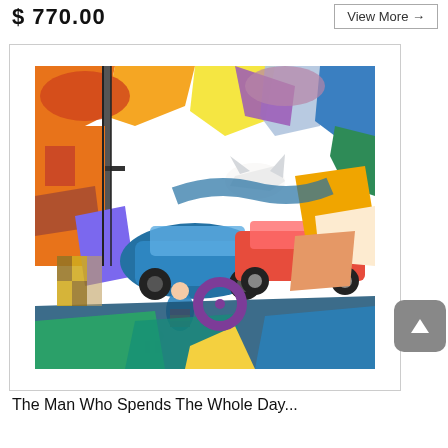$ 770.00
View More →
[Figure (illustration): A colorful abstract/cubist style painting showing an urban street scene with cars, a person with a dog, a street pole, a bird in flight, and bold geometric shapes in vivid colors including orange, red, blue, yellow, green, purple.]
The Man Who Spends The Whole Day...